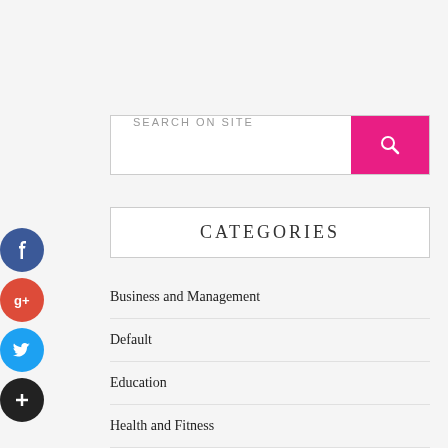[Figure (other): Social media icons on left side: Facebook (blue circle), Google+ (red circle), Twitter (cyan circle), Plus/share (dark circle)]
SEARCH ON SITE
CATEGORIES
Business and Management
Default
Education
Health and Fitness
Home and Garden